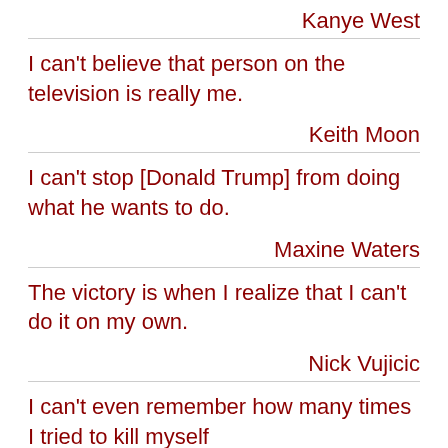Kanye West
I can't believe that person on the television is really me.
Keith Moon
I can't stop [Donald Trump] from doing what he wants to do.
Maxine Waters
The victory is when I realize that I can't do it on my own.
Nick Vujicic
I can't even remember how many times I tried to kill myself